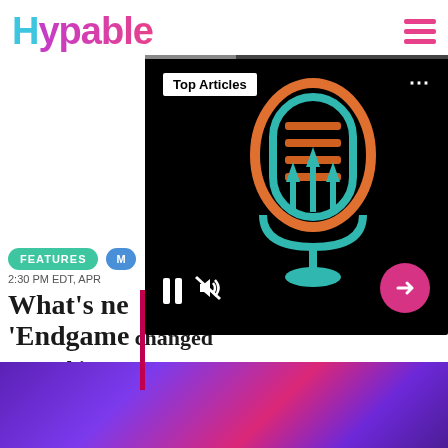Hypable
[Figure (screenshot): Audio player popup overlay on dark background showing a stylized microphone icon in teal and orange colors, with a 'Top Articles' badge, pause button, mute button, and a pink next arrow button]
FEATURES
M
2:30 PM EDT, APR
What's ne 'Endgame changed everything
BY MICHAL SCHICK
[Figure (photo): Purple and pink toned photo of people in a crowd or audience]